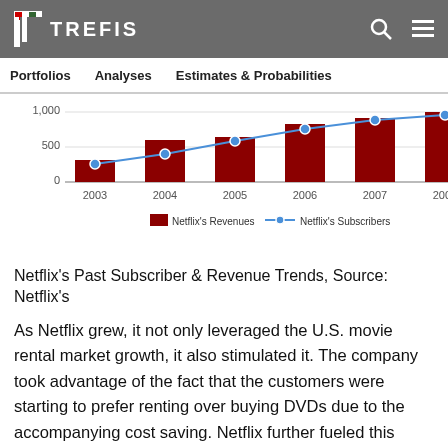TREFIS
[Figure (bar-chart): Netflix's Past Subscriber & Revenue Trends]
Netflix's Past Subscriber & Revenue Trends, Source: Netflix's
As Netflix grew, it not only leveraged the U.S. movie rental market growth, it also stimulated it. The company took advantage of the fact that the customers were starting to prefer renting over buying DVDs due to the accompanying cost saving. Netflix further fueled this trend by making it